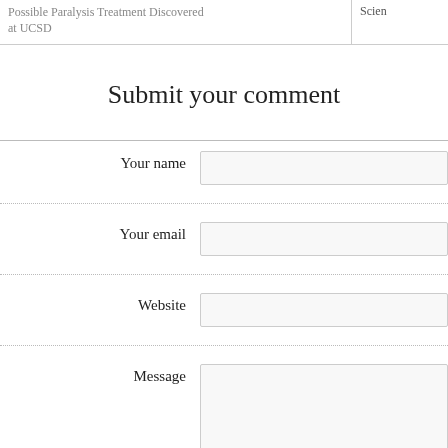Possible Paralysis Treatment Discovered at UCSD
Scien
Submit your comment
Your name
Your email
Website
Message